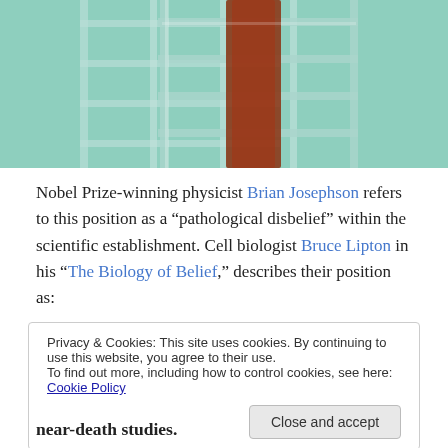[Figure (photo): Partial top photo showing laboratory glassware with a red-colored liquid or object visible among clear glass racks/structures on a teal/green background]
Nobel Prize-winning physicist Brian Josephson refers to this position as a "pathological disbelief" within the scientific establishment. Cell biologist Bruce Lipton in his "The Biology of Belief," describes their position as:
“I wouldn’t believe it even if it were true!”
Privacy & Cookies: This site uses cookies. By continuing to use this website, you agree to their use. To find out more, including how to control cookies, see here: Cookie Policy
near-death studies.